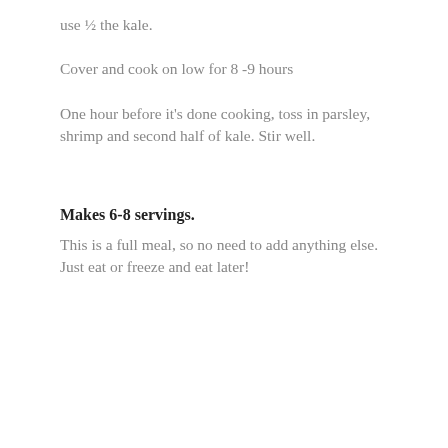use ½ the kale.
Cover and cook on low for 8 -9 hours
One hour before it's done cooking, toss in parsley, shrimp and second half of kale. Stir well.
Makes 6-8 servings.
This is a full meal, so no need to add anything else. Just eat or freeze and eat later!